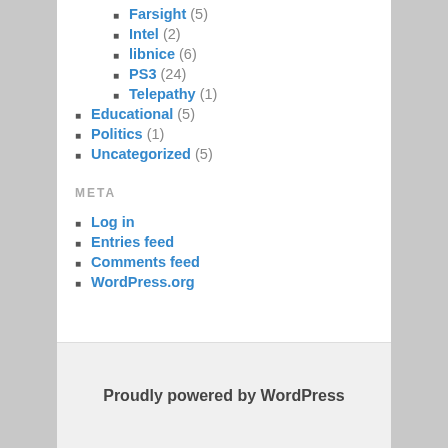Farsight (5)
Intel (2)
libnice (6)
PS3 (24)
Telepathy (1)
Educational (5)
Politics (1)
Uncategorized (5)
META
Log in
Entries feed
Comments feed
WordPress.org
Proudly powered by WordPress